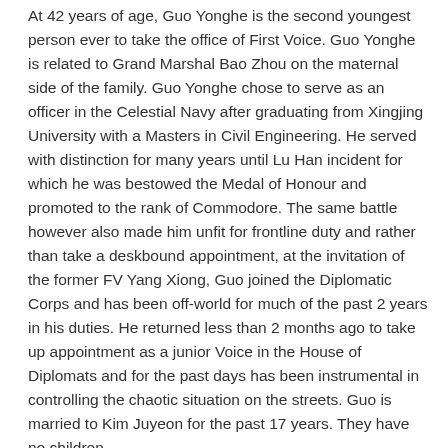At 42 years of age, Guo Yonghe is the second youngest person ever to take the office of First Voice. Guo Yonghe is related to Grand Marshal Bao Zhou on the maternal side of the family. Guo Yonghe chose to serve as an officer in the Celestial Navy after graduating from Xingjing University with a Masters in Civil Engineering. He served with distinction for many years until Lu Han incident for which he was bestowed the Medal of Honour and promoted to the rank of Commodore. The same battle however also made him unfit for frontline duty and rather than take a deskbound appointment, at the invitation of the former FV Yang Xiong, Guo joined the Diplomatic Corps and has been off-world for much of the past 2 years in his duties. He returned less than 2 months ago to take up appointment as a junior Voice in the House of Diplomats and for the past days has been instrumental in controlling the chaotic situation on the streets. Guo is married to Kim Juyeon for the past 17 years. They have no children.